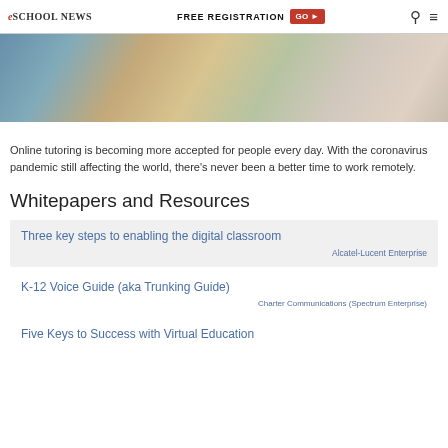eSchool News | FREE REGISTRATION GO ▶
[Figure (photo): Photo of people working at a table, partially visible, showing hands and a tablet or book in an outdoor or bright setting]
Online tutoring is becoming more accepted for people every day. With the coronavirus pandemic still affecting the world, there's never been a better time to work remotely.
Whitepapers and Resources
Three key steps to enabling the digital classroom
Alcatel-Lucent Enterprise
K-12 Voice Guide (aka Trunking Guide)
Charter Communications (Spectrum Enterprise)
Five Keys to Success with Virtual Education